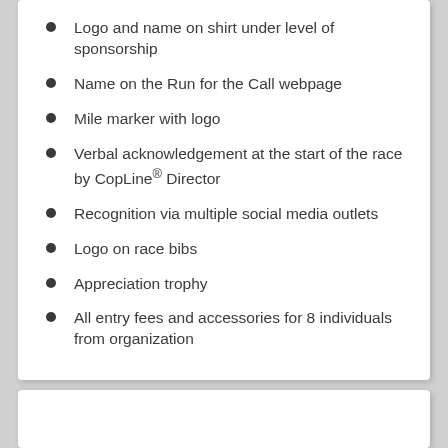Logo and name on shirt under level of sponsorship
Name on the Run for the Call webpage
Mile marker with logo
Verbal acknowledgement at the start of the race by CopLine® Director
Recognition via multiple social media outlets
Logo on race bibs
Appreciation trophy
All entry fees and accessories for 8 individuals from organization